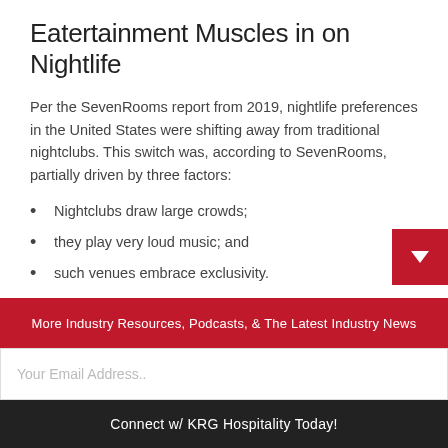Eatertainment Muscles in on Nightlife
Per the SevenRooms report from 2019, nightlife preferences in the United States were shifting away from traditional nightclubs. This switch was, according to SevenRooms, partially driven by three factors:
Nightclubs draw large crowds;
they play very loud music; and
such venues embrace exclusivity.
Now, that isn't to say that the nightclub is dead. Particul…
More Industry Resources, Podcasts, & The Latest Industry News
Your Email Address..
Connect w/ KRG Hospitality Today!